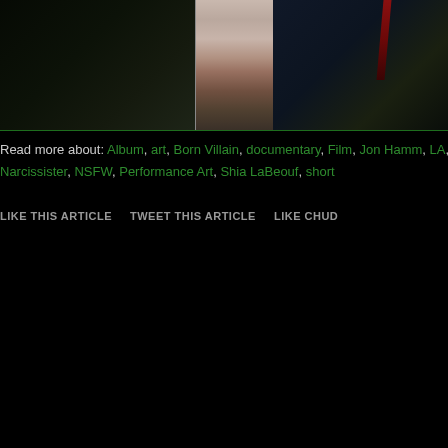[Figure (photo): Dark photograph showing a person in a white/pink dress with cutout revealing undergarments, surrounded by people in dark clothing at what appears to be an event or party]
Read more about: Album, art, Born Villain, documentary, Film, Jon Hamm, LA, Los A..., Narcissister, NSFW, Performance Art, Shia LaBeouf, short
LIKE THIS ARTICLE   TWEET THIS ARTICLE   LIKE CHUD